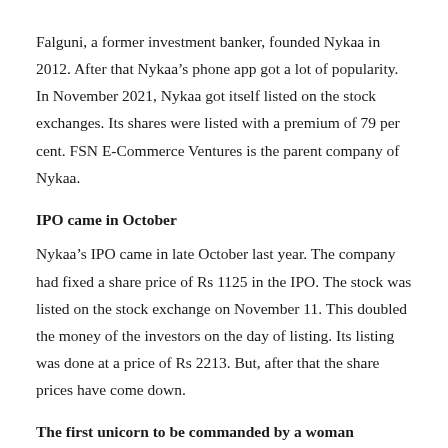Falguni, a former investment banker, founded Nykaa in 2012. After that Nykaa's phone app got a lot of popularity. In November 2021, Nykaa got itself listed on the stock exchanges. Its shares were listed with a premium of 79 per cent. FSN E-Commerce Ventures is the parent company of Nykaa.
IPO came in October
Nykaa's IPO came in late October last year. The company had fixed a share price of Rs 1125 in the IPO. The stock was listed on the stock exchange on November 11. This doubled the money of the investors on the day of listing. Its listing was done at a price of Rs 2213. But, after that the share prices have come down.
The first unicorn to be commanded by a woman